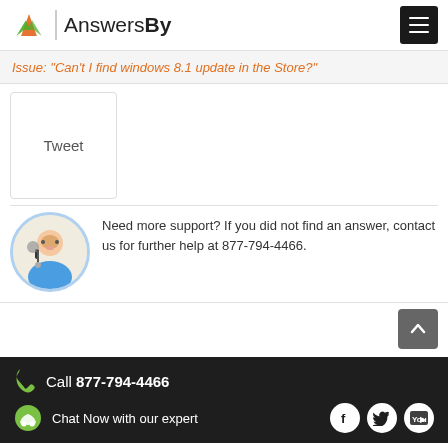AnswersBy
Issue: "Can't I find windows 8.1 update in the Store?"
[Figure (screenshot): Tweet button widget box]
Need more support? If you did not find an answer, contact us for further help at 877-794-4466.
Call 877-794-4466 | Chat Now with our expert